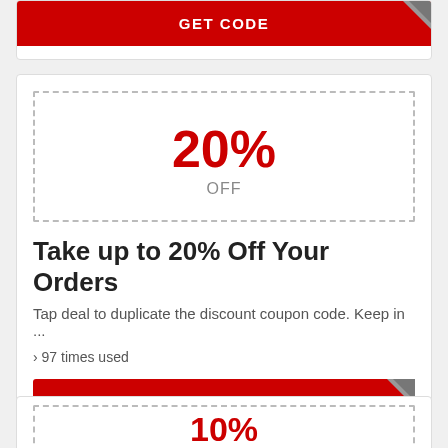GET CODE
[Figure (infographic): Coupon card with 20% OFF discount badge in dashed border box]
Take up to 20% Off Your Orders
Tap deal to duplicate the discount coupon code. Keep in ...
› 97 times used
GET CODE
[Figure (infographic): Partial coupon card showing 10% discount badge]